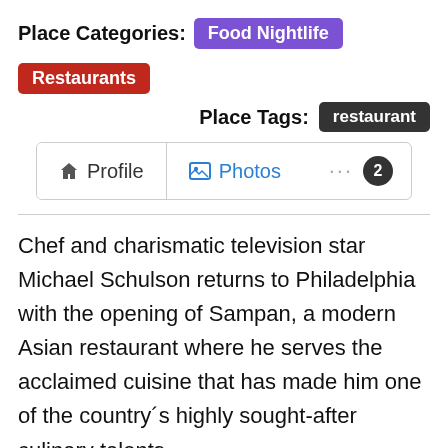Place Categories: Food Nightlife Restaurants
Place Tags: restaurant
Profile  Photos  ··· 2
Chef and charismatic television star Michael Schulson returns to Philadelphia with the opening of Sampan, a modern Asian restaurant where he serves the acclaimed cuisine that has made him one of the country´s highly sought-after culinary talents.
Schulson returns to Philadelphia after having